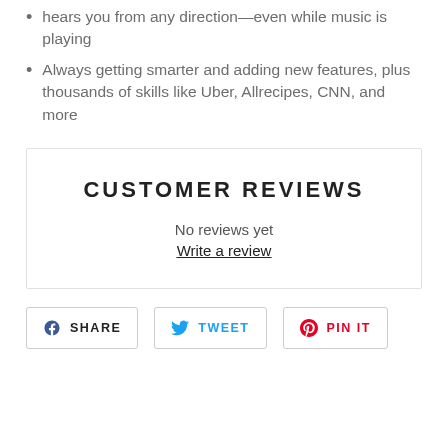hears you from any direction—even while music is playing
Always getting smarter and adding new features, plus thousands of skills like Uber, Allrecipes, CNN, and more
CUSTOMER REVIEWS
No reviews yet
Write a review
[Figure (other): Social share buttons: SHARE (Facebook), TWEET (Twitter), PIN IT (Pinterest)]